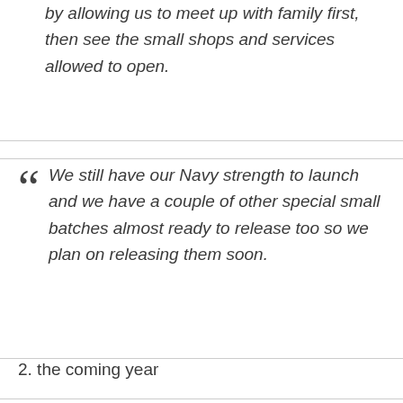by allowing us to meet up with family first, then see the small shops and services allowed to open.
We still have our Navy strength to launch and we have a couple of other special small batches almost ready to release too so we plan on releasing them soon.
2. the coming year